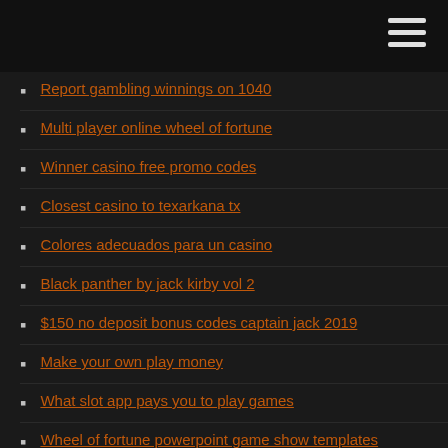Report gambling winnings on 1040
Multi player online wheel of fortune
Winner casino free promo codes
Closest casino to texarkana tx
Colores adecuados para un casino
Black panther by jack kirby vol 2
$150 no deposit bonus codes captain jack 2019
Make your own play money
What slot app pays you to play games
Wheel of fortune powerpoint game show templates
Paddy power poker bonus code
Little creek casino shelton wa
Best online casino app canada
Las vegas casino online free spins